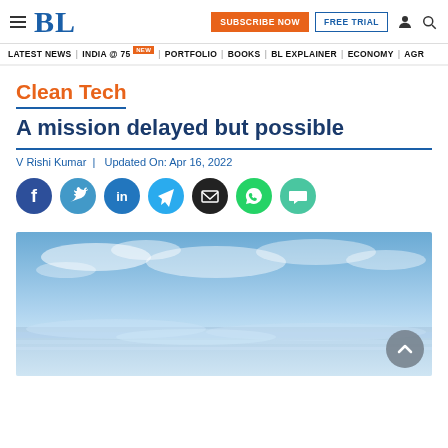BL | SUBSCRIBE NOW | FREE TRIAL
LATEST NEWS | INDIA @ 75 NEW | PORTFOLIO | BOOKS | BL EXPLAINER | ECONOMY | AGR
Clean Tech
A mission delayed but possible
V Rishi Kumar |  Updated On: Apr 16, 2022
[Figure (photo): Sky with clouds and horizon, blue sky panoramic photo used as article hero image]